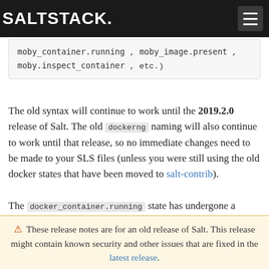SALTSTACK.
moby_container.running , moby_image.present , moby.inspect_container , etc.)
The old syntax will continue to work until the 2019.2.0 release of Salt. The old dockerng naming will also continue to work until that release, so no immediate changes need to be made to your SLS files (unless you were still using the old docker states that have been moved to salt-contrib).
The docker_container.running state has undergone a significant change in how it determines whether or not a container needs to be replaced. Rather than
⚠ These release notes are for an old release of Salt. This release might contain known security and other issues that are fixed in the latest release.